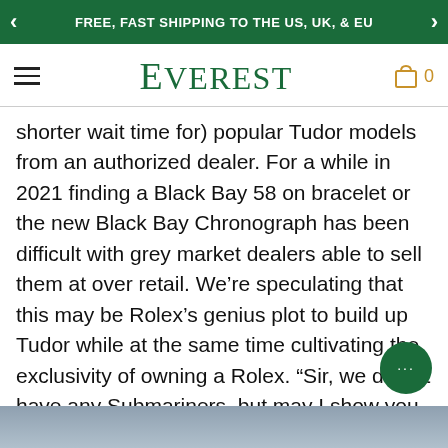FREE, FAST SHIPPING TO THE US, UK, & EU
EVEREST
shorter wait time for) popular Tudor models from an authorized dealer. For a while in 2021 finding a Black Bay 58 on bracelet or the new Black Bay Chronograph has been difficult with grey market dealers able to sell them at over retail. We're speculating that this may be Rolex's genius plot to build up Tudor while at the same time cultivating the exclusivity of owning a Rolex. “Sir, we do not have any Submariners, but may I show you some beautiful Tudor dive watches that you can walk out of our store on your wrist today?”
[Figure (photo): Bottom edge of a photo showing what appears to be a watch or related product image, partially visible]